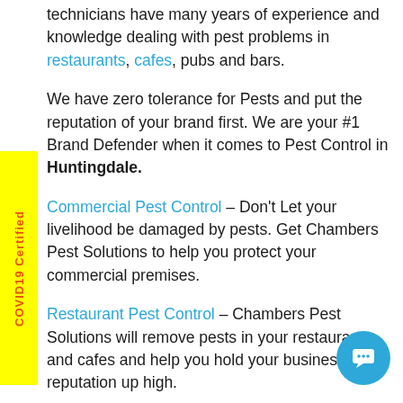technicians have many years of experience and knowledge dealing with pest problems in restaurants, cafes, pubs and bars.
We have zero tolerance for Pests and put the reputation of your brand first. We are your #1 Brand Defender when it comes to Pest Control in Huntingdale.
Commercial Pest Control – Don't Let your livelihood be damaged by pests. Get Chambers Pest Solutions to help you protect your commercial premises.
Restaurant Pest Control – Chambers Pest Solutions will remove pests in your restaurant and cafes and help you hold your business reputation up high.